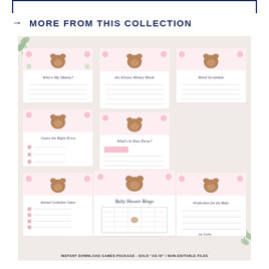→ MORE FROM THIS COLLECTION
[Figure (photo): A flat lay of woodland animal themed baby shower game cards including 'Who's My Mama?', 'Price is Right', 'Word Scramble', 'What's in Your Purse?', 'Animal Gestation Game', 'Baby Shower Bingo', and 'Predictions for the Baby'. Cards feature pink floral and green botanical borders with woodland animals (bear, fox, deer, raccoon). Eucalyptus branches visible in corners.]
INSTANT DOWNLOAD GAMES PACKAGE · SOLD "AS IS" / NON-EDITABLE FILES